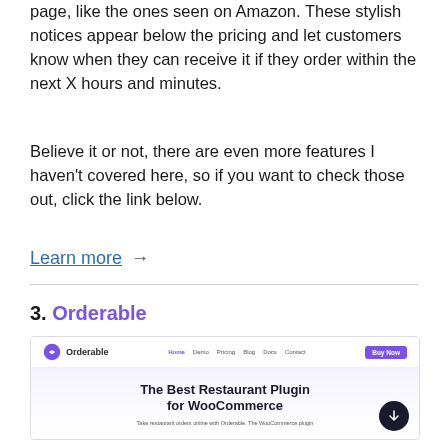page, like the ones seen on Amazon. These stylish notices appear below the pricing and let customers know when they can receive it if they order within the next X hours and minutes.
Believe it or not, there are even more features I haven't covered here, so if you want to check those out, click the link below.
Learn more →
3. Orderable
[Figure (screenshot): Screenshot of the Orderable website showing its navigation bar with logo, nav links (Home, Demo, Pricing, Blog, Docs, Contact) and a purple 'Buy Now' button, followed by a hero section with the headline 'The Best Restaurant Plugin for WooCommerce' and a subtitle 'Take restaurant orders online with Orderable. The WooCommerce plugin']